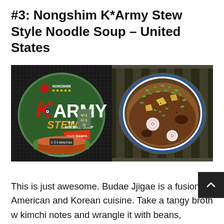#3: Nongshim K*Army Stew Style Noodle Soup – United States
[Figure (photo): Two-panel image: left side shows Nongshim K-Army Stew Style Noodle Soup product packaging (bowl with K ARMY STEW branding, camouflage green design, chili beans label); right side shows a bowl of prepared noodle soup from above with vegetables, eggs, and toppings in a blue-rimmed bowl.]
This is just awesome. Budae Jjigae is a fusion of American and Korean cuisine. Take a tangy broth w kimchi notes and wrangle it with beans, macaroni, and other Army ration staples and you've got buda...